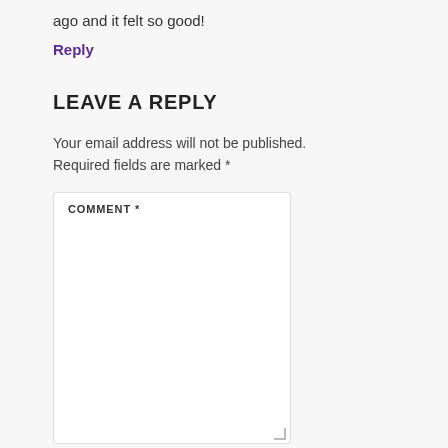ago and it felt so good!
Reply
LEAVE A REPLY
Your email address will not be published. Required fields are marked *
COMMENT *